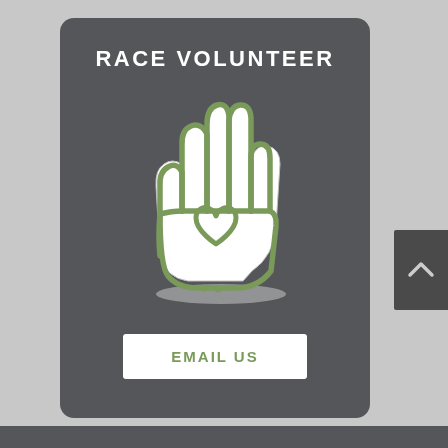RACE VOLUNTEER
[Figure (illustration): Icon of an open hand with a heart shape in the palm, outlined in green on white background with a light shadow, representing volunteering.]
EMAIL US